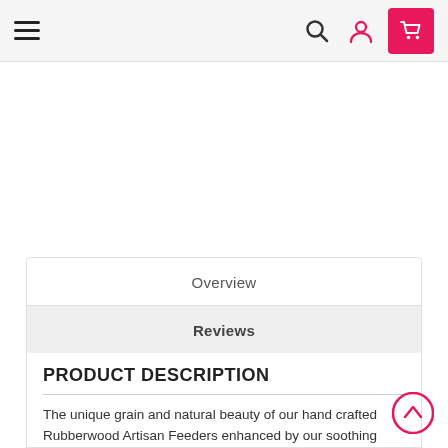Navigation bar with hamburger menu, search, user, and cart icons
Overview
Reviews
PRODUCT DESCRIPTION
The unique grain and natural beauty of our hand crafted Rubberwood Artisan Feeders enhanced by our soothing neutral finishes (natural or grey) creates a rich, chic look,